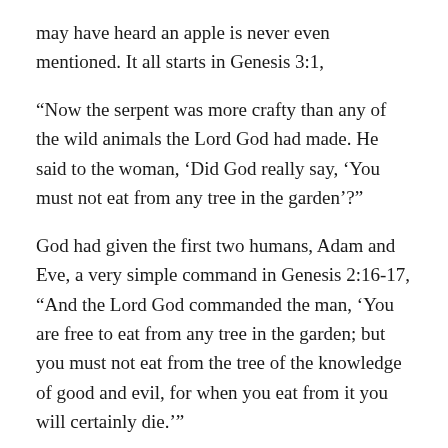may have heard an apple is never even mentioned. It all starts in Genesis 3:1,
“Now the serpent was more crafty than any of the wild animals the Lord God had made. He said to the woman, ‘Did God really say, ‘You must not eat from any tree in the garden’?”
God had given the first two humans, Adam and Eve, a very simple command in Genesis 2:16-17, “And the Lord God commanded the man, ‘You are free to eat from any tree in the garden; but you must not eat from the tree of the knowledge of good and evil, for when you eat from it you will certainly die.’”
When the serpent approaches Eve he begins by intentionally misquoting God. Throughout history we find examples of atrocities beginning with misinformation and